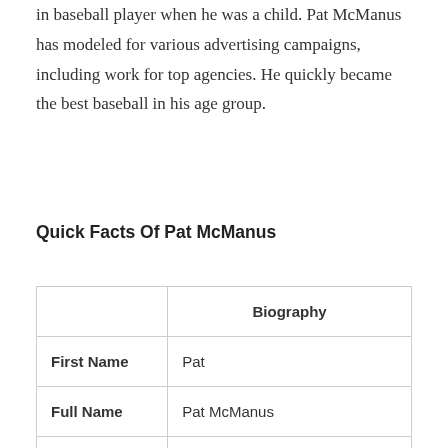in baseball player when he was a child. Pat McManus has modeled for various advertising campaigns, including work for top agencies. He quickly became the best baseball in his age group.
Quick Facts Of Pat McManus
|  | Biography |
| --- | --- |
| First Name | Pat |
| Full Name | Pat McManus |
| Nick Name | McManus |